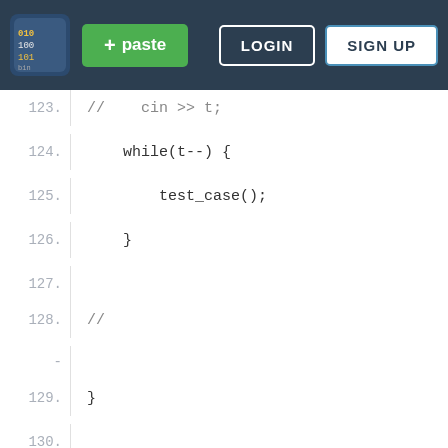[Figure (screenshot): Pastebin website header navigation bar with logo, green paste button, LOGIN and SIGN UP buttons on dark blue background]
123.    //    cin >> t;
124.        while(t--) {
125.            test_case();
126.        }
127.
128.    //
129.    }
130.
We use cookies for various purposes including analytics. By continuing to use Pastebin, you agree to our use of cookies as described in the Cookies Policy.  OK, I Understand
Not a member of Pastebin yet? Sign Up, it unlocks many cool features!